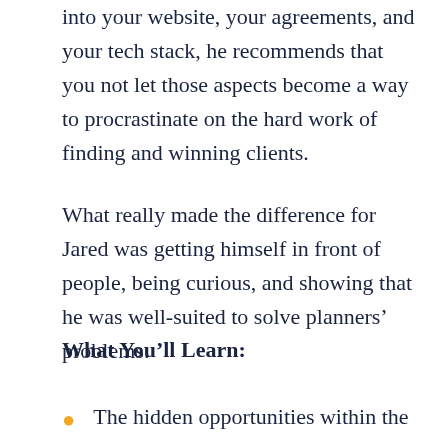into your website, your agreements, and your tech stack, he recommends that you not let those aspects become a way to procrastinate on the hard work of finding and winning clients.
What really made the difference for Jared was getting himself in front of people, being curious, and showing that he was well-suited to solve planners' problems.
What You'll Learn:
The hidden opportunities within the